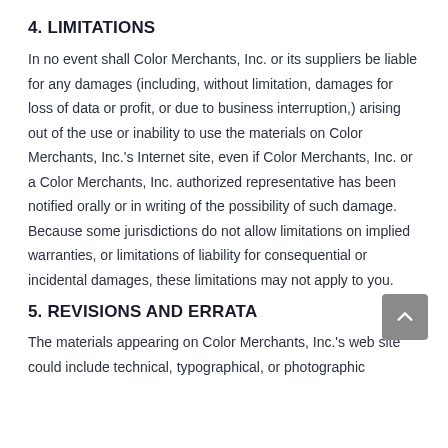4. LIMITATIONS
In no event shall Color Merchants, Inc. or its suppliers be liable for any damages (including, without limitation, damages for loss of data or profit, or due to business interruption,) arising out of the use or inability to use the materials on Color Merchants, Inc.'s Internet site, even if Color Merchants, Inc. or a Color Merchants, Inc. authorized representative has been notified orally or in writing of the possibility of such damage. Because some jurisdictions do not allow limitations on implied warranties, or limitations of liability for consequential or incidental damages, these limitations may not apply to you.
5. REVISIONS AND ERRATA
The materials appearing on Color Merchants, Inc.'s web site could include technical, typographical, or photographic